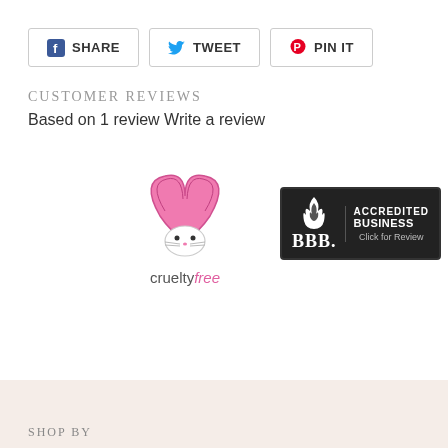[Figure (infographic): Social sharing buttons: Facebook SHARE, Twitter TWEET, Pinterest PIN IT]
CUSTOMER REVIEWS
Based on 1 review Write a review
[Figure (logo): Cruelty Free bunny logo with heart-shaped ears and text 'cruelty free']
[Figure (logo): BBB Accredited Business badge with 'Click for Review' text]
SHOP BY